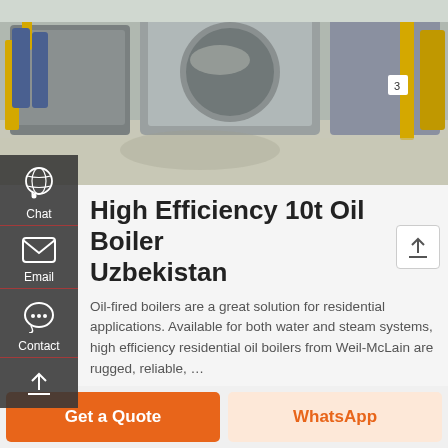[Figure (photo): Industrial boiler room with large grey and yellow oil-fired boilers, pipes, and equipment on a reflective floor]
High Efficiency 10t Oil Boiler Uzbekistan
Oil-fired boilers are a great solution for residential applications. Available for both water and steam systems, high efficiency residential oil boilers from Weil-McLain are rugged, reliable, …
Get A Quote
Get a Quote
WhatsApp